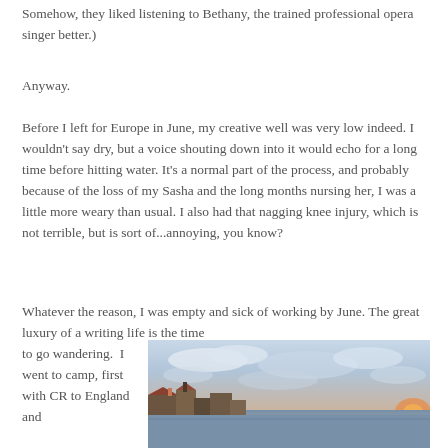Somehow, they liked listening to Bethany, the trained professional opera singer better.)
Anyway.
Before I left for Europe in June, my creative well was very low indeed.  I wouldn't say dry, but a voice shouting down into it would echo for a long time before hitting water.  It's a normal part of the process, and probably because of the loss of my Sasha and the long months nursing her, I was a little more weary than usual.  I also had that nagging knee injury, which is not terrible, but is sort of...annoying, you know?
Whatever the reason, I was empty and sick of working by June. The great luxury of a writing life is the time
to go wandering.  I went to camp, first with CR to England and
[Figure (photo): Photograph of a coastal town at dusk/sunset, showing rooftops and buildings in the foreground with a body of water and cloudy sky in the background.]